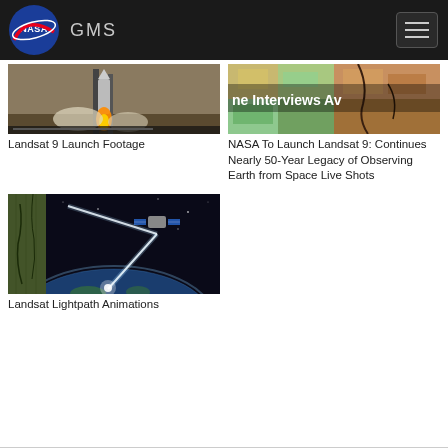NASA GMS
[Figure (screenshot): Landsat 9 rocket launch footage thumbnail showing rocket launching with flames]
Landsat 9 Launch Footage
[Figure (screenshot): NASA interview thumbnail with text 'ne Interviews Av' visible and earth imagery]
NASA To Launch Landsat 9: Continues Nearly 50-Year Legacy of Observing Earth from Space Live Shots
[Figure (screenshot): Landsat satellite lightpath animation showing satellite orbiting Earth with light beam]
Landsat Lightpath Animations